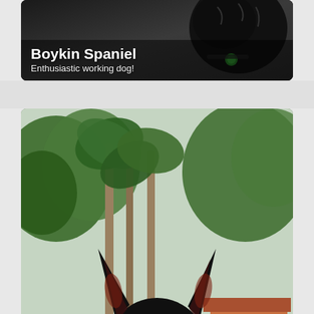[Figure (photo): Boykin Spaniel dog photo card with dark curly-haired dog wearing green tag collar]
Boykin Spaniel
Enthusiastic working dog!
[Figure (photo): Brazilian Terrier dog at outdoor park, black and white dog looking at camera with tropical trees and pavilion in background]
Brazilian Terrier
Small body and tri-coloured coat!
[Figure (photo): Bowtech SR350 advertisement banner: SMOOTH HAS NEVER BEEN THIS FAST. with MORE button]